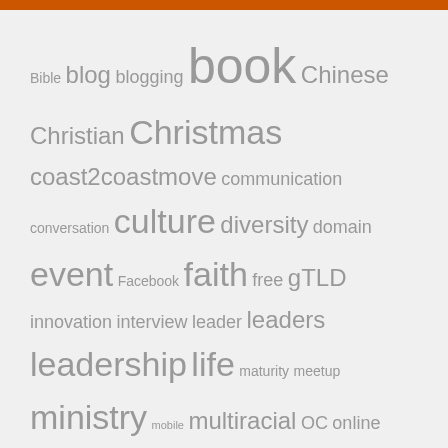[Figure (other): Tag cloud with words of varying sizes in gray: Bible, blog, blogging, book, Chinese, Christian, Christmas, coast2coastmove, communication, conversation, culture, diversity, domain, event, Facebook, faith, free, gTLD, innovation, interview, leader, leaders, leadership, life, maturity, meetup, ministry, mobile, multiracial, OC, online, pastor, pastors, people, personal, podcast, prayer, presentation, relationship, Starbucks, talk, theology, travel, twitter, unblink, web, website, WordPress, worship]
CATEGORIES
Select Category
ARCHIVES